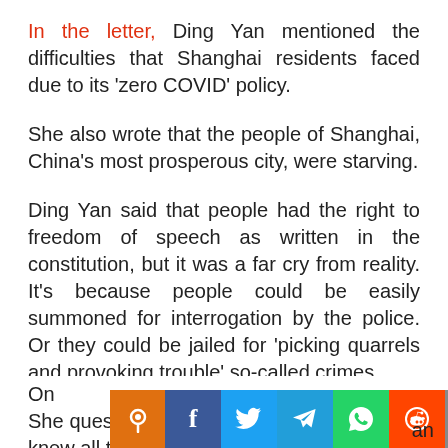In the letter, Ding Yan mentioned the difficulties that Shanghai residents faced due to its 'zero COVID' policy.
She also wrote that the people of Shanghai, China's most prosperous city, were starving.
Ding Yan said that people had the right to freedom of speech as written in the constitution, but it was a far cry from reality. It's because people could be easily summoned for interrogation by the police. Or they could be jailed for 'picking quarrels and provoking trouble' so-called crimes.
She questioned the authorities whether they knew all these facts.
On ... an to ...